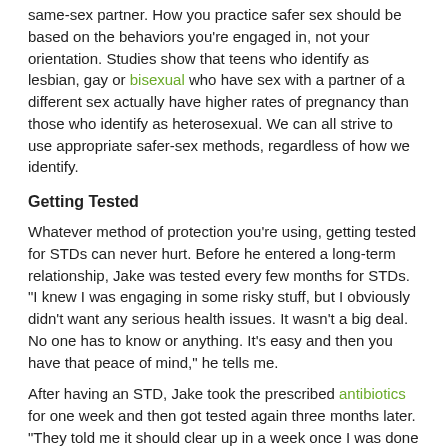same-sex partner. How you practice safer sex should be based on the behaviors you're engaged in, not your orientation. Studies show that teens who identify as lesbian, gay or bisexual who have sex with a partner of a different sex actually have higher rates of pregnancy than those who identify as heterosexual. We can all strive to use appropriate safer-sex methods, regardless of how we identify.
Getting Tested
Whatever method of protection you're using, getting tested for STDs can never hurt. Before he entered a long-term relationship, Jake was tested every few months for STDs. "I knew I was engaging in some risky stuff, but I obviously didn't want any serious health issues. It wasn't a big deal. No one has to know or anything. It's easy and then you have that peace of mind," he tells me.
After having an STD, Jake took the prescribed antibiotics for one week and then got tested again three months later. "They told me it should clear up in a week once I was done with the antibiotics, but I waited to make sure." Getting tested is the only sure way to know you're STD-free before engaging in sex again.* "Once the test came back negative, my sex life went back to normal, except with more condoms and protection," Jake tells me.
Tackling the Stigma
Despite how common STDs are, people with STDs can be viewed as promiscuous or unclean. With so much stigma surrounding STDs, it can be difficult for people who had/have STDs to feel open